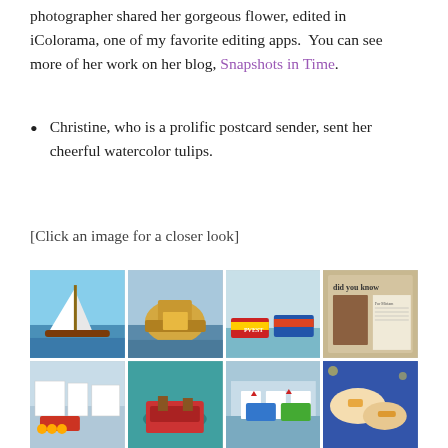photographer shared her gorgeous flower, edited in iColorama, one of my favorite editing apps.  You can see more of her work on her blog, Snapshots in Time.
Christine, who is a prolific postcard sender, sent her cheerful watercolor tulips.
[Click an image for a closer look]
[Figure (photo): Grid of postcard images: row 1 shows sailboat painting, yellow boat painting, colorful boats painting, 'did you know' postcard with castle; row 2 shows harbor with houses painting, red rowboat painting, boats with flags painting, art nouveau reclining figure; row 3 shows close-up white flower photo and orange/red tulip watercolor.]